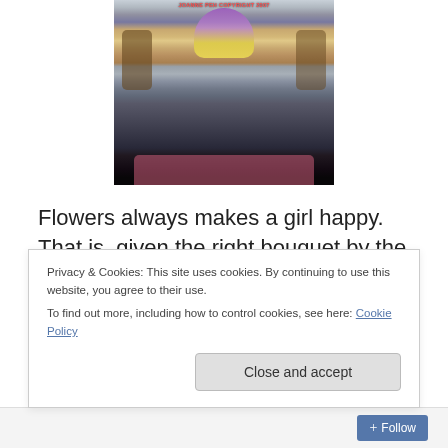[Figure (photo): Person sitting in a chair holding a bouquet of flowers with purple and yellow wrapping, wearing jeans and a light-colored shirt. Photo has a watermark reading 'JOANNE PEH COPYRIGHT 2007' at the top.]
Flowers always makes a girl happy. That is, given the right bouquet by the right person at the right time.
In the past, I used to think that flowers are meaningless gifts because they don't last very long and happiness
Privacy & Cookies: This site uses cookies. By continuing to use this website, you agree to their use.
To find out more, including how to control cookies, see here: Cookie Policy
Close and accept